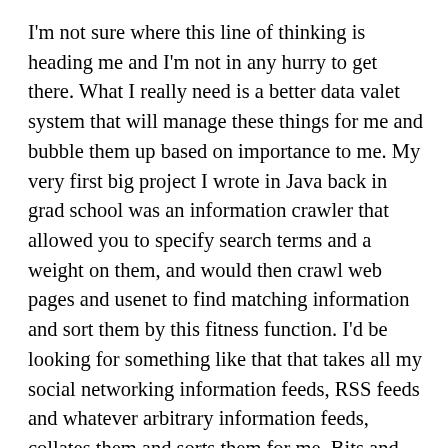I'm not sure where this line of thinking is heading me and I'm not in any hurry to get there. What I really need is a better data valet system that will manage these things for me and bubble them up based on importance to me. My very first big project I wrote in Java back in grad school was an information crawler that allowed you to specify search terms and a weight on them, and would then crawl web pages and usenet to find matching information and sort them by this fitness function. I'd be looking for something like that that takes all my social networking information feeds, RSS feeds and whatever arbitrary information feeds, collates them and sorts them for me. Bits and pieces of this exist, but I'd really love to have an overall holistic manager of the whole incoming noosphere. What I really want is something like the mythical Apple Knowledge Navigator. Let's make that happen,